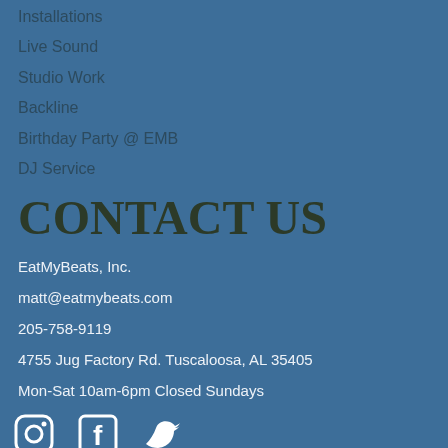Installations
Live Sound
Studio Work
Backline
Birthday Party @ EMB
DJ Service
CONTACT US
EatMyBeats, Inc.
matt@eatmybeats.com
205-758-9119
4755 Jug Factory Rd. Tuscaloosa, AL 35405
Mon-Sat 10am-6pm Closed Sundays
[Figure (illustration): Social media icons: Instagram, Facebook, Twitter]